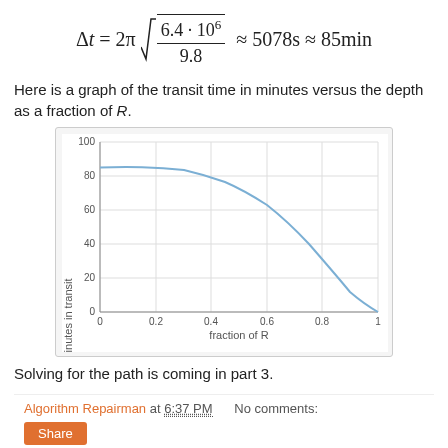Here is a graph of the transit time in minutes versus the depth as a fraction of R.
[Figure (continuous-plot): Line chart showing minutes in transit (y-axis, 0 to 100) vs fraction of R (x-axis, 0 to 1). The curve starts at approximately 85 minutes at fraction 0, remains nearly flat until about 0.3, then decreases steeply to near 0 at fraction 1.]
Solving for the path is coming in part 3.
Algorithm Repairman at 6:37 PM   No comments:   Share